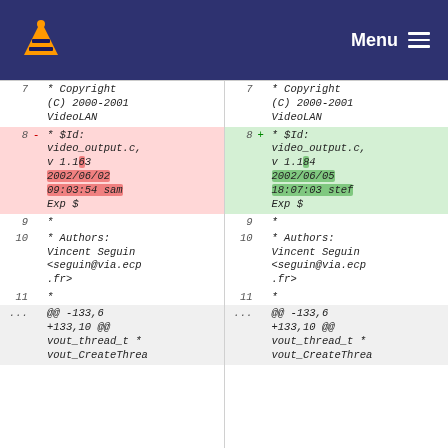VLC Menu
| line | sign | code |
| --- | --- | --- |
| 7 |  | * Copyright (C) 2000-2001 VideoLAN |
| 8 | - | * $Id: video_output.c, v 1.183 2002/06/02 09:03:54 sam Exp $ |
| 9 |  | * |
| 10 |  | * Authors: Vincent Seguin <seguin@via.ecp.fr> |
| 11 |  | * |
| ... |  | @@ -133,6 +133,10 @@ vout_thread_t * vout_CreateThrea |
| line | sign | code |
| --- | --- | --- |
| 7 |  | * Copyright (C) 2000-2001 VideoLAN |
| 8 | + | * $Id: video_output.c, v 1.184 2002/06/05 18:07:03 stef Exp $ |
| 9 |  | * |
| 10 |  | * Authors: Vincent Seguin <seguin@via.ecp.fr> |
| 11 |  | * |
| ... |  | @@ -133,6 +133,10 @@ vout_thread_t * vout_CreateThrea |